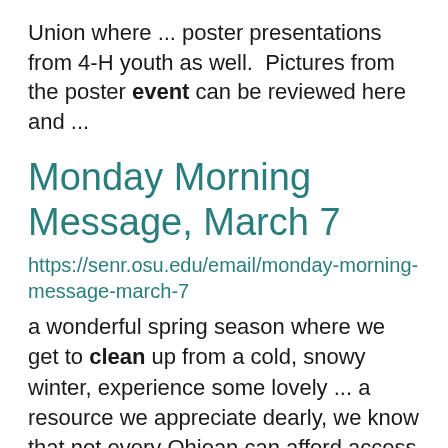Union where ... poster presentations from 4-H youth as well.  Pictures from the poster event can be reviewed here and ...
Monday Morning Message, March 7
https://senr.osu.edu/email/monday-morning-message-march-7
a wonderful spring season where we get to clean up from a cold, snowy winter, experience some lovely ... a resource we appreciate dearly, we know that not every Ohioan can afford access to clean water. Establishing ... and sustaining infrastructures for safe, clean, and